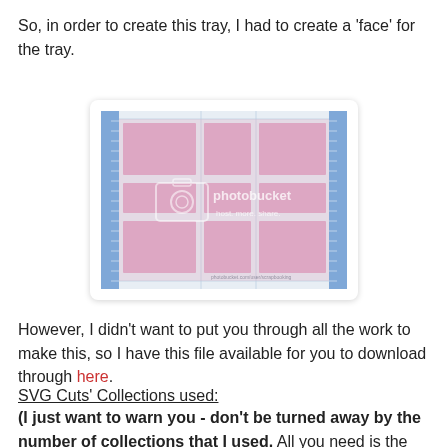So, in order to create this tray, I had to create a 'face' for the tray.
[Figure (screenshot): Screenshot of a design software showing a tray face layout with pink rectangular sections arranged in a grid on a light blue/gray background with ruler guides on the sides and a Photobucket watermark overlay.]
However, I didn't want to put you through all the work to make this, so I have this file available for you to download through here.
SVG Cuts' Collections used:
(I just want to warn you - don't be turned away by the number of collections that I used.  All you need is the Classic Christmas Advent Calendar SVG Kit to make the tray